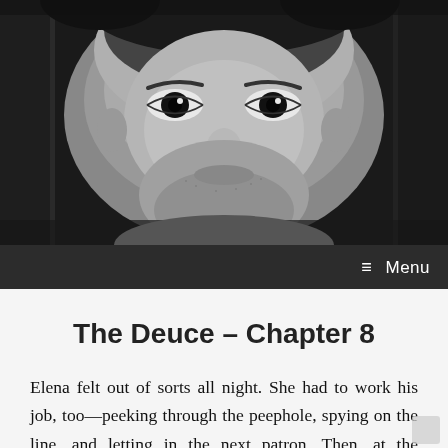[Figure (photo): Close-up black and white photograph of a man's face, focusing on his eyes and upper face. High contrast monochrome image. Background is dark with bokeh-like blur.]
≡ Menu
The Deuce – Chapter 8
Elena felt out of sorts all night. She had to work his job, too—peeking through the peephole, spying on the line, and letting in the next patron. Then, at the expense of her stature, she had to cross the wagon with the patron and sit down at the same time as them. She was supposed to be holding court. Instead, she felt like a hairdresser, guiding the patrons to their seats.